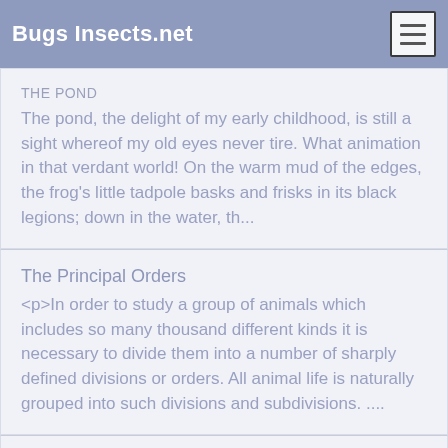Bugs Insects.net
THE POND
The pond, the delight of my early childhood, is still a sight whereof my old eyes never tire. What animation in that verdant world! On the warm mud of the edges, the frog's little tadpole basks and frisks in its black legions; down in the water, th...
The Principal Orders
<p>In order to study a group of animals which includes so many thousand different kinds it is necessary to divide them into a number of sharply defined divisions or orders. All animal life is naturally grouped into such divisions and subdivisions. ....
THE PROBLEM OF THE SCOLIAE
Now that all the facts have been set forth, it is time to collate them. We already know that the Beetle-hunters,